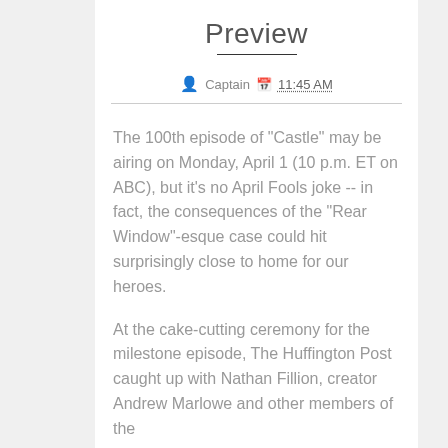Preview
Captain  11:45 AM
The 100th episode of "Castle" may be airing on Monday, April 1 (10 p.m. ET on ABC), but it's no April Fools joke -- in fact, the consequences of the "Rear Window"-esque case could hit surprisingly close to home for our heroes.
At the cake-cutting ceremony for the milestone episode, The Huffington Post caught up with Nathan Fillion, creator Andrew Marlowe and other members of the